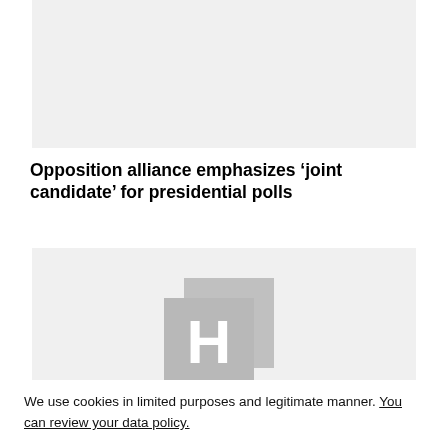[Figure (photo): Top image placeholder with light gray background]
Opposition alliance emphasizes ‘joint candidate’ for presidential polls
[Figure (photo): Main article image placeholder with light gray background and a gray HeraldScotland-style H placeholder icon]
We use cookies in limited purposes and legitimate manner. You can review your data policy.